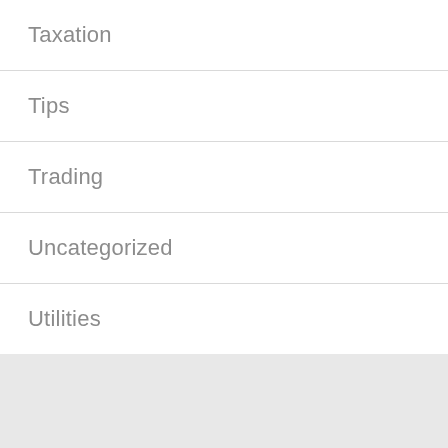Taxation
Tips
Trading
Uncategorized
Utilities